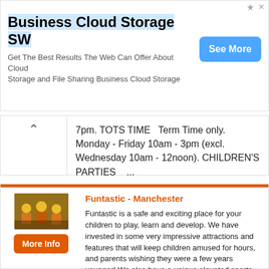[Figure (screenshot): Advertisement banner for Business Cloud Storage SW with a blue 'See More' button]
Business Cloud Storage SW
Get The Best Results The Web Can Offer About Cloud Storage and File Sharing Business Cloud Storage
7pm. TOTS TIME   Term Time only. Monday - Friday 10am - 3pm (excl. Wednesday 10am - 12noon). CHILDREN'S PARTIES   ...
Funtastic - Manchester
Funtastic is a safe and exciting place for your children to play, learn and develop. We have invested in some very impressive attractions and features that will keep children amused for hours, and parents wishing they were a few years younger! We also have a unique elevated sports court, sure to keep the little ones busy Monday - Friday's ...